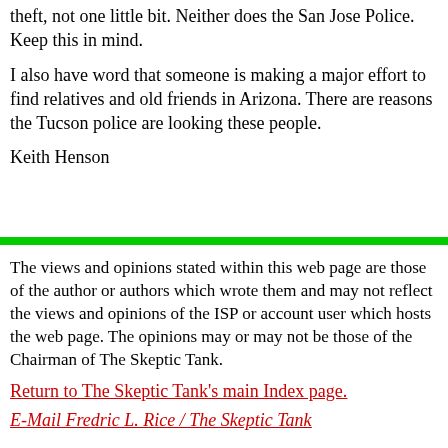American Protective Services does not appreciate this identity theft, not one little bit. Neither does the San Jose Police. Keep this in mind.
I also have word that someone is making a major effort to find relatives and old friends in Arizona. There are reasons the Tucson police are looking these people.
Keith Henson
[Figure (other): Horizontal green divider bar]
The views and opinions stated within this web page are those of the author or authors which wrote them and may not reflect the views and opinions of the ISP or account user which hosts the web page. The opinions may or may not be those of the Chairman of The Skeptic Tank.
Return to The Skeptic Tank's main Index page.
E-Mail Fredric L. Rice / The Skeptic Tank